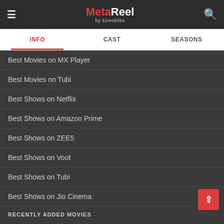MetaReel by 91mobiles
INFO | CAST | SEASONS
Best Movies on MX Player
Best Movies on Tubi
Best Shows on Netflix
Best Shows on Amazon Prime
Best Shows on ZEE5
Best Shows on Voot
Best Shows on Tubi
Best Shows on Jio Cinema
RECENTLY ADDED MOVIES
Cuttputlli
After Ever Happy